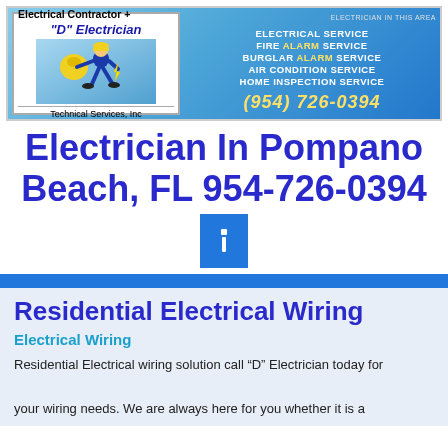[Figure (logo): Electrical Contractor + D Electrician Technical Services Inc banner logo with electrician figure and phone number (954) 726-0394, listing services: Electrical Service, Fire Alarm Service, Burglar Alarm Service, Air Condition Service, Home Inspection Service]
Electrician In Pompano Beach, FL 954-726-0394
[Figure (other): Small blue square button with a white symbol]
Residential Electrical Wiring
Electrical Wiring
Residential Electrical wiring solution call “D” Electrician today for your wiring needs. We are always here for you whether it is a